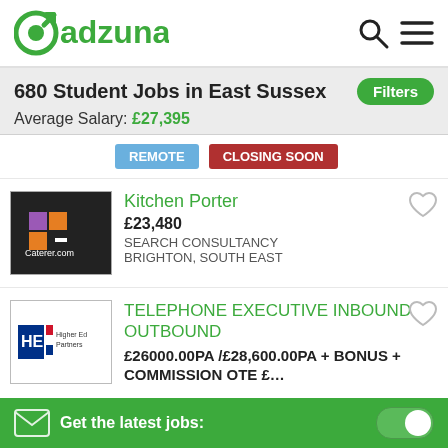adzuna — search icon, menu icon
680 Student Jobs in East Sussex
Average Salary: £27,395
REMOTE
CLOSING SOON
Kitchen Porter — £23,480 — SEARCH CONSULTANCY — BRIGHTON, SOUTH EAST
TELEPHONE EXECUTIVE INBOUND OUTBOUND — £26000.00PA /£28,600.00PA + BONUS + COMMISSION OTE £…
Get the latest jobs: